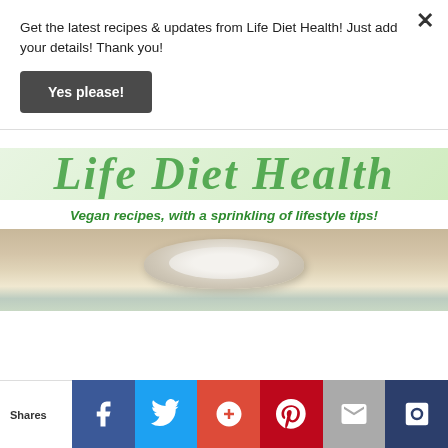Get the latest recipes & updates from Life Diet Health! Just add your details! Thank you!
Yes please!
[Figure (logo): Life Diet Health logo in large italic green text]
Vegan recipes, with a sprinkling of lifestyle tips!
[Figure (photo): Close-up photo of a spoon with cream/cottage cheese mixture]
Privacy & Cookies: This site uses cookies. By continuing to use this website, you agree to their use.
To find out more, including how to control cookies, see here: Cookie Policy
Shares